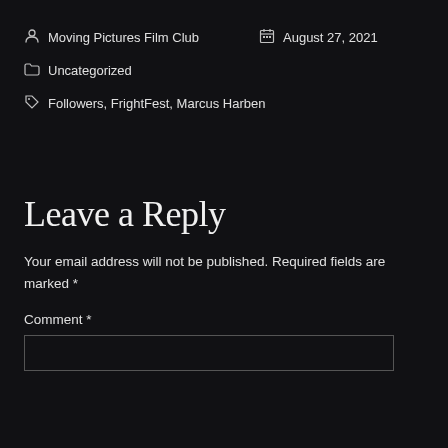Moving Pictures Film Club | August 27, 2021
Uncategorized
Followers, FrightFest, Marcus Harben
Leave a Reply
Your email address will not be published. Required fields are marked *
Comment *